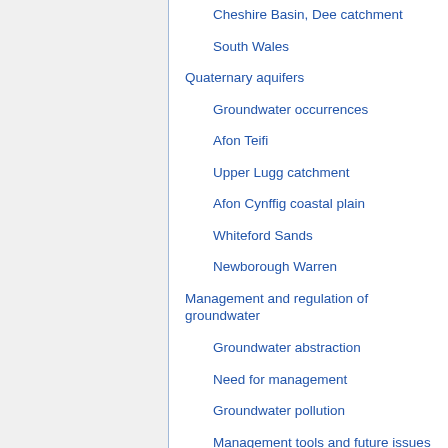Cheshire Basin, Dee catchment
South Wales
Quaternary aquifers
Groundwater occurrences
Afon Teifi
Upper Lugg catchment
Afon Cynffig coastal plain
Whiteford Sands
Newborough Warren
Management and regulation of groundwater
Groundwater abstraction
Need for management
Groundwater pollution
Management tools and future issues
References